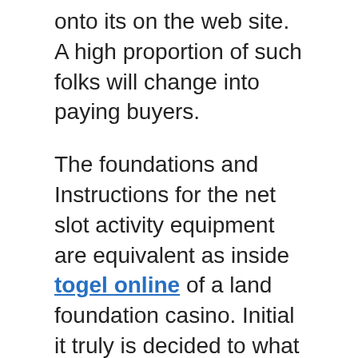onto its on the web site. A high proportion of such folks will change into paying buyers.
The foundations and Instructions for the net slot activity equipment are equivalent as inside togel online of a land foundation casino. Initial it truly is decided to what amount of cash to compete from. After that, the decision about how numerous cash location wager with spin comes about. With the online slot equipment, you can arrive up amongst 1, three and therefore as much as 9 paylines. It isn't that throughout the paylines just one bets on, the hard cash he spends, but even the chances of getting funds are greater much too. Level that will come is clicking the spin button. The noise in the spin may be heard exactly the same way like